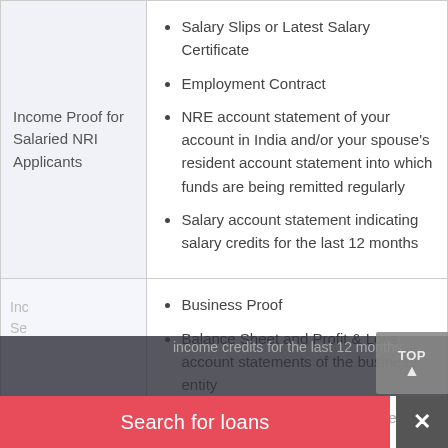|  | Documents |
| --- | --- |
| Income Proof for Salaried NRI Applicants | Salary Slips or Latest Salary Certificate; Employment Contract; NRE account statement of your account in India and/or your spouse's resident account statement into which funds are being remitted regularly; Salary account statement indicating salary credits for the last 12 months |
| Income Proof for Self [truncated] | Business Proof; Balance Sheet and Profit & Loss account statements of the business entity; Overseas bank account statements of [truncated]; income credits for the last 12 months |
[Figure (screenshot): Grey 'TOP' button with upward arrow overlay on the right side]
[Figure (screenshot): Red 'Search for loans' banner at the bottom with a grey X close button]